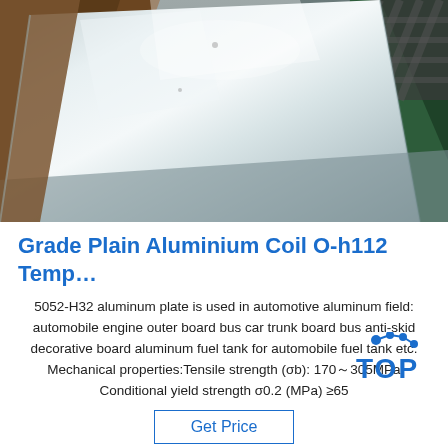[Figure (photo): Industrial photograph of aluminium coil/sheet rolls in a warehouse or factory setting. The large metallic coil has a shiny silver surface with light reflections. Brown packaging material and green tarpaulin are visible in the background.]
Grade Plain Aluminium Coil O-h112 Temp…
5052-H32 aluminum plate is used in automotive aluminum field: automobile engine outer board bus car trunk board bus anti-skid decorative board aluminum fuel tank for automobile fuel tank etc. Mechanical properties:Tensile strength (σb): 170～305MPa Conditional yield strength σ0.2 (MPa) ≥65
[Figure (logo): TOP logo in blue with decorative dots above the text forming a crown or figure shape]
Get Price